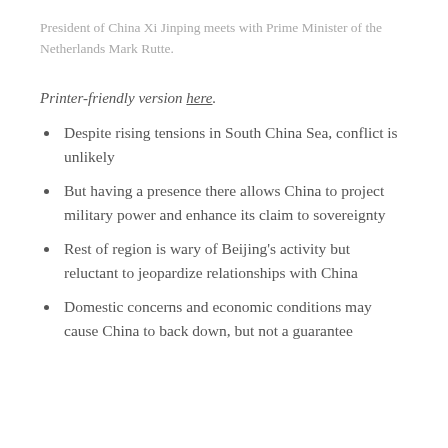President of China Xi Jinping meets with Prime Minister of the Netherlands Mark Rutte.
Printer-friendly version here.
Despite rising tensions in South China Sea, conflict is unlikely
But having a presence there allows China to project military power and enhance its claim to sovereignty
Rest of region is wary of Beijing's activity but reluctant to jeopardize relationships with China
Domestic concerns and economic conditions may cause China to back down, but not a guarantee